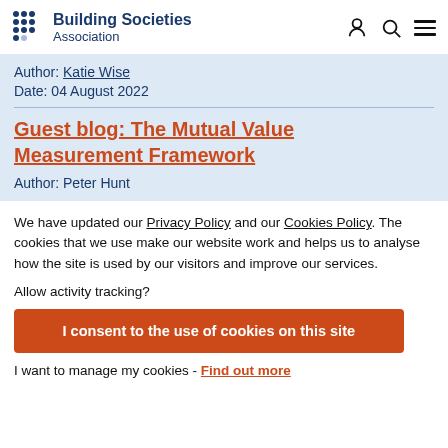Building Societies Association
Author: Katie Wise
Date: 04 August 2022
Guest blog: The Mutual Value Measurement Framework
Author: Peter Hunt
We have updated our Privacy Policy and our Cookies Policy. The cookies that we use make our website work and helps us to analyse how the site is used by our visitors and improve our services.
Allow activity tracking?
I consent to the use of cookies on this site
I want to manage my cookies - Find out more